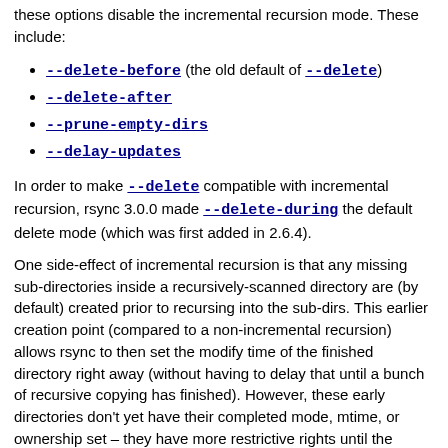these options disable the incremental recursion mode. These include:
--delete-before (the old default of --delete)
--delete-after
--prune-empty-dirs
--delay-updates
In order to make --delete compatible with incremental recursion, rsync 3.0.0 made --delete-during the default delete mode (which was first added in 2.6.4).
One side-effect of incremental recursion is that any missing sub-directories inside a recursively-scanned directory are (by default) created prior to recursing into the sub-dirs. This earlier creation point (compared to a non-incremental recursion) allows rsync to then set the modify time of the finished directory right away (without having to delay that until a bunch of recursive copying has finished). However, these early directories don't yet have their completed mode, mtime, or ownership set – they have more restrictive rights until the subdirectory's copying actually begins. This early-creation idiom can be